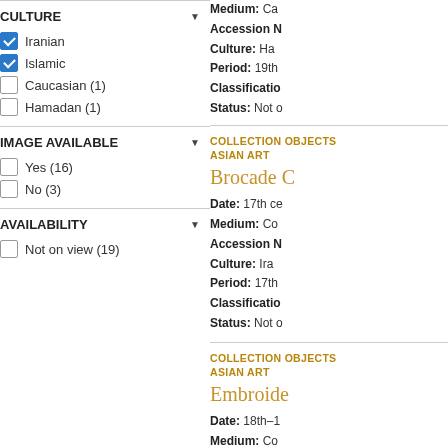CULTURE
Iranian (checked)
Islamic (checked)
Caucasian (1)
Hamadan (1)
IMAGE AVAILABLE
Yes (16)
No (3)
AVAILABILITY
Not on view (19)
Medium: Ca
Accession N
Culture: Ha
Period: 19th
Classificatio
Status: Not o
COLLECTION OBJECTS
ASIAN ART
Brocade C
Date: 17th ce
Medium: Co
Accession N
Culture: Ira
Period: 17th
Classificatio
Status: Not o
COLLECTION OBJECTS
ASIAN ART
Embroide
Date: 18th–1
Medium: Co
Accession N
Culture: Ira
Period: 18th
Classificatio